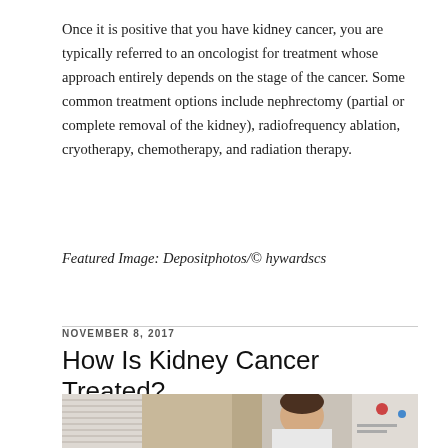Once it is positive that you have kidney cancer, you are typically referred to an oncologist for treatment whose approach entirely depends on the stage of the cancer. Some common treatment options include nephrectomy (partial or complete removal of the kidney), radiofrequency ablation, cryotherapy, chemotherapy, and radiation therapy.
Featured Image: Depositphotos/© hywardscs
NOVEMBER 8, 2017
How Is Kidney Cancer Treated?
[Figure (photo): A man in a white shirt sitting in a medical/hospital setting, looking downward, with curtains and medical equipment visible in the background.]